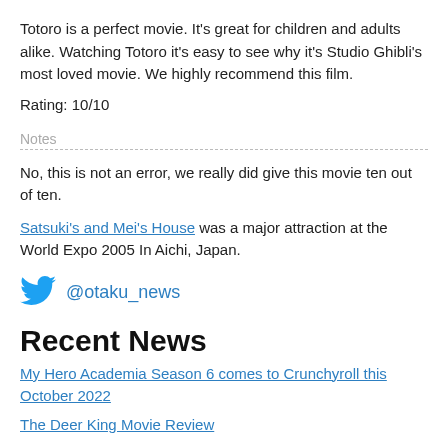Totoro is a perfect movie. It's great for children and adults alike. Watching Totoro it's easy to see why it's Studio Ghibli's most loved movie. We highly recommend this film.
Rating: 10/10
Notes
No, this is not an error, we really did give this movie ten out of ten.
Satsuki's and Mei's House was a major attraction at the World Expo 2005 In Aichi, Japan.
@otaku_news
Recent News
My Hero Academia Season 6 comes to Crunchyroll this October 2022
The Deer King Movie Review